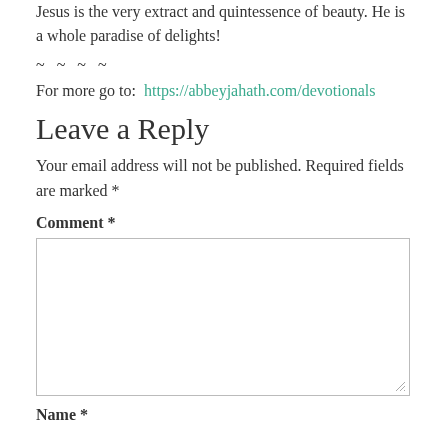Jesus is the very extract and quintessence of beauty. He is a whole paradise of delights!
~ ~ ~ ~
For more go to:  https://abbeyjahath.com/devotionals
Leave a Reply
Your email address will not be published. Required fields are marked *
Comment *
Name *